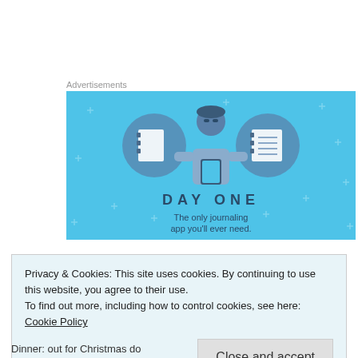Advertisements
[Figure (screenshot): Day One journaling app advertisement. Blue background with illustration of a person holding a phone, flanked by two circular icons of notebooks. Text reads 'DAY ONE — The only journaling app you'll ever need.']
Privacy & Cookies: This site uses cookies. By continuing to use this website, you agree to their use.
To find out more, including how to control cookies, see here: Cookie Policy
Close and accept
Dinner: out for Christmas do